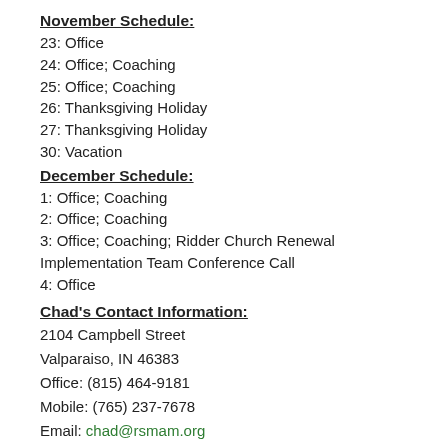November Schedule:
23: Office
24: Office; Coaching
25: Office; Coaching
26: Thanksgiving Holiday
27: Thanksgiving Holiday
30: Vacation
December Schedule:
1: Office; Coaching
2: Office; Coaching
3: Office; Coaching; Ridder Church Renewal Implementation Team Conference Call
4: Office
Chad's Contact Information:
2104 Campbell Street
Valparaiso, IN 46383
Office: (815) 464-9181
Mobile: (765) 237-7678
Email: chad@rsmam.org